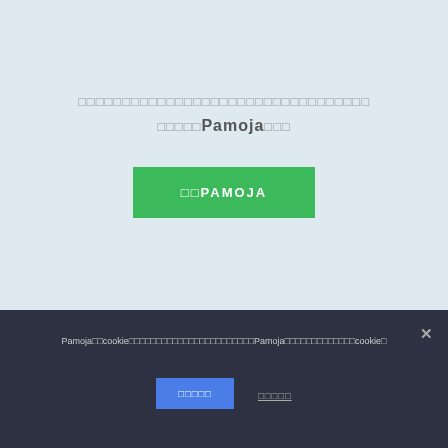□□□□□□□□□□□□□□□□□□□□□□□□□□□□□□□□□□□□Pamoja□□□
□□PAMOJA
Pamoja□□cookie□□□□□□□□□□□□□□□□□□□□□□□Pamoja□□□□□□□□□□□□□cookie□
□□□□□
□□□□□